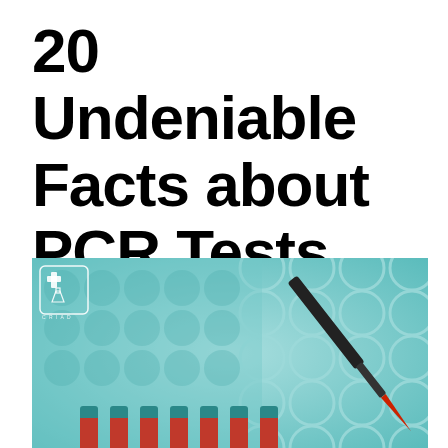20 Undeniable Facts about PCR Tests
[Figure (photo): Laboratory photo showing a micropipette with a red tip dispensing liquid into test tubes with red caps, arranged in a row, against a teal/cyan blurred background with circular well plate. A small logo with a flask and cross symbol is visible in the upper left corner of the image.]